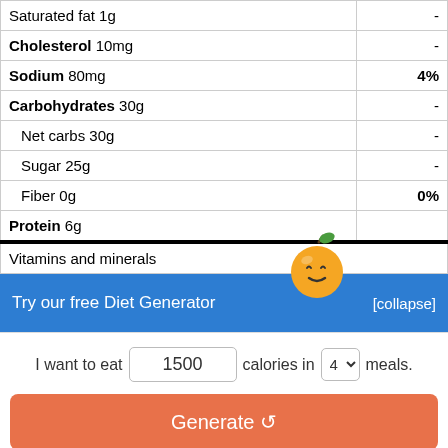| Nutrient | Value |
| --- | --- |
| Saturated fat 1g | - |
| Cholesterol 10mg | - |
| Sodium 80mg | 4% |
| Carbohydrates 30g | - |
| Net carbs 30g | - |
| Sugar 25g | - |
| Fiber 0g | 0% |
| Protein 6g |  |
| Vitamins and minerals |  |
Try our free Diet Generator
[collapse]
I want to eat 1500 calories in 4 meals.
Generate